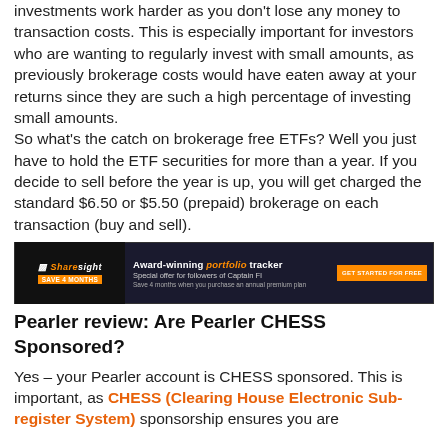investments work harder as you don't lose any money to transaction costs. This is especially important for investors who are wanting to regularly invest with small amounts, as previously brokerage costs would have eaten away at your returns since they are such a high percentage of investing small amounts. So what's the catch on brokerage free ETFs? Well you just have to hold the ETF securities for more than a year. If you decide to sell before the year is up, you will get charged the standard $6.50 or $5.50 (prepaid) brokerage on each transaction (buy and sell).
[Figure (other): Sharesight advertisement banner: Award-winning portfolio tracker. Special offer for followers of Captain FI. Save 4 months when you purchase an annual premium plan. Get started for free.]
Pearler review: Are Pearler CHESS Sponsored?
Yes – your Pearler account is CHESS sponsored. This is important, as CHESS (Clearing House Electronic Sub-register System) sponsorship ensures you are